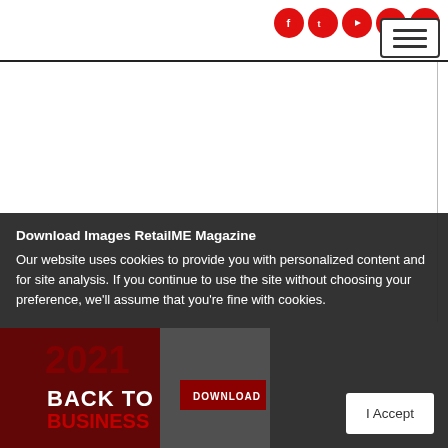RetailME Magazine website header with social icons (Facebook, Twitter, YouTube, LinkedIn, Instagram) and hamburger menu button
[Figure (screenshot): White main content area with vertical right border line, representing a webpage body area]
Download Images RetailME Magazine
Our website uses cookies to provide you with personalized content and for site analysis. If you continue to use the site without choosing your preference, we'll assume that you're fine with cookies.
[Figure (photo): RetailME magazine cover thumbnail showing 'BACK TO BUSINESS' text with a person wearing a mask, dark red background, and a DOWNLOAD button]
I Accept